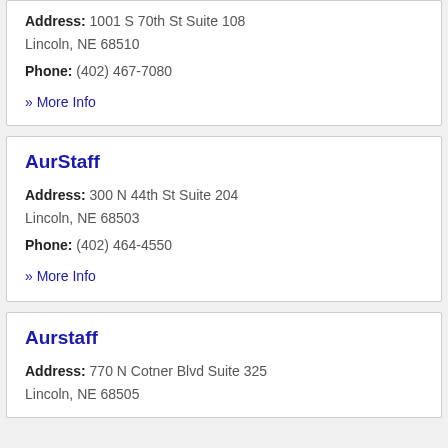Address: 1001 S 70th St Suite 108
Lincoln, NE 68510
Phone: (402) 467-7080
» More Info
AurStaff
Address: 300 N 44th St Suite 204
Lincoln, NE 68503
Phone: (402) 464-4550
» More Info
Aurstaff
Address: 770 N Cotner Blvd Suite 325
Lincoln, NE 68505